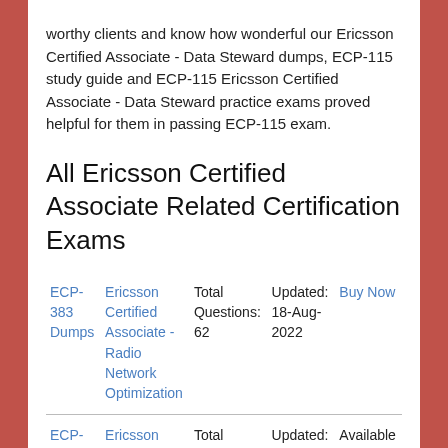worthy clients and know how wonderful our Ericsson Certified Associate - Data Steward dumps, ECP-115 study guide and ECP-115 Ericsson Certified Associate - Data Steward practice exams proved helpful for them in passing ECP-115 exam.
All Ericsson Certified Associate Related Certification Exams
| Exam | Name | Total Questions | Updated | Action |
| --- | --- | --- | --- | --- |
| ECP-383 Dumps | Ericsson Certified Associate - Radio Network Optimization | Total Questions: 62 | Updated: 18-Aug-2022 | Buy Now |
| ECP-205 Dumps | Ericsson Certified Associate - IP Networking | Total Questions: 0 | Updated: 21-Aug-2022 | Available Soon |